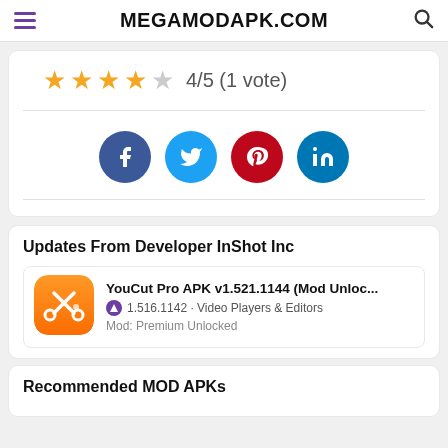MEGAMODAPK.COM
[Figure (infographic): Star rating 4/5 (1 vote) with 4 filled orange stars and 1 empty star]
[Figure (infographic): Social media share buttons: Facebook, Twitter, Pinterest, LinkedIn]
Updates From Developer InShot Inc
[Figure (infographic): YouCut app icon - orange with scissors logo]
YouCut Pro APK v1.521.1144 (Mod Unloc... 1.516.1142 · Video Players & Editors Mod: Premium Unlocked
Recommended MOD APKs